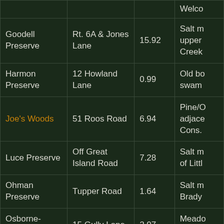| Name | Address | Acres | Description |
| --- | --- | --- | --- |
|  |  |  | Welco... |
| Goodell Preserve | Rt. 6A & Jones Lane | 15.92 | Salt m... upper... Creek... |
| Harmon Preserve | 12 Howland Lane | 0.99 | Old bo... swam... |
| Joe's Woods | 51 Roos Road | 6.94 | Pine/O... adjace... Cons.... |
| Luce Preserve | Off Great Island Road | 7.28 | Salt m... of Littl... |
| Ohman Preserve | Tupper Road | 1.64 | Salt m... Brady... |
| Osborne-Sheerman | 15 Gully Lane | 2.07 | Meado... Welco... |
| Shirley's Woods | 14 Spring Hill Road | 1.22 | Wood... |
| Great Island Meadow | off Great Island Road | 4.90 | Salt M... |
| Sutton Preserve | 12 June Lane | 0.67 | Pine/O... |